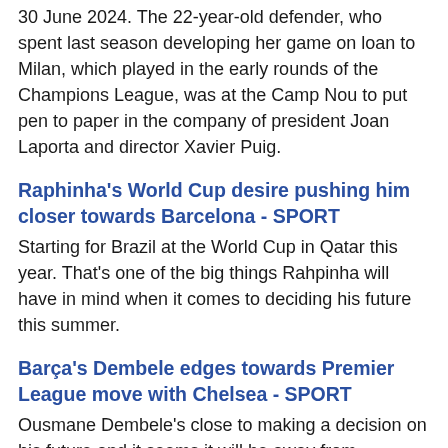30 June 2024. The 22-year-old defender, who spent last season developing her game on loan to Milan, which played in the early rounds of the Champions League, was at the Camp Nou to put pen to paper in the company of president Joan Laporta and director Xavier Puig.
Raphinha's World Cup desire pushing him closer towards Barcelona - SPORT
Starting for Brazil at the World Cup in Qatar this year. That's one of the big things Rahpinha will have in mind when it comes to deciding his future this summer.
Barça's Dembele edges towards Premier League move with Chelsea - SPORT
Ousmane Dembele's close to making a decision on his future and it seems it will be away from Barcelona. TalkSport assure that the French will is close to signing